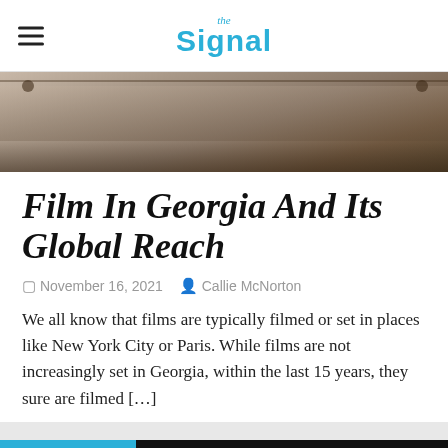the Signal
[Figure (photo): Hero image of a building exterior, brownish tones, architectural facade]
Film In Georgia And Its Global Reach
November 16, 2021   Callie McNorton
We all know that films are typically filmed or set in places like New York City or Paris. While films are not increasingly set in Georgia, within the last 15 years, they sure are filmed […]
ARTS & LIVING
The Signal uses cookies to ensure we provide you the best experience on our website. If you continue to use our website, we'll assume you're happy with it.